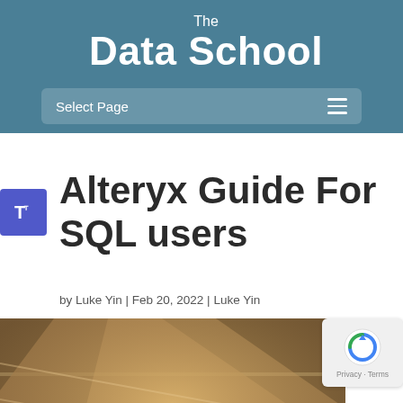The Data School
Select Page
Alteryx Guide For SQL users
by Luke Yin | Feb 20, 2022 | Luke Yin
[Figure (photo): Photo of staircase with wooden steps and decorative tiling, viewed from above at an angle with warm lighting]